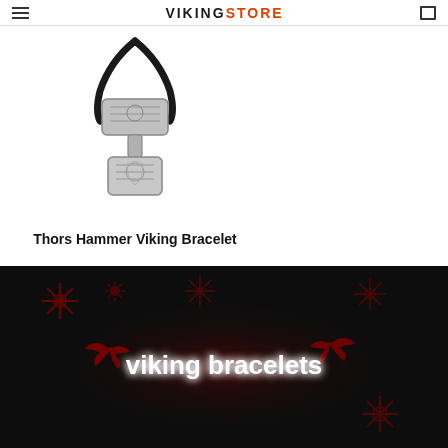VIKINGSTORE
[Figure (photo): Thor's Hammer Viking Bracelet product photo showing a silver hammer pendant on a black leather cord against white background]
Thors Hammer Viking Bracelet
$24.99 USD
[Figure (photo): Dark banner image with red Norse/Viking decorative symbols (snowflakes, ravens, moon, sun wheel) and glowing white text reading 'viking bracelets' in the center]